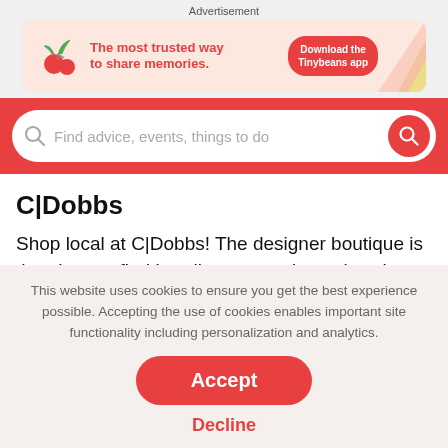Advertisement
[Figure (illustration): Tinybeans app advertisement banner with cherry/leaf logo, text 'The most trusted way to share memories.' and a red button 'Download the Tinybeans app']
[Figure (screenshot): Red search bar with placeholder text 'Find advice, events, things to do' and a red circular search button on the right]
C|Dobbs
Shop local at C|Dobbs! The designer boutique is the place to find handbags, art, shoes, jewelry and men's and women's
This website uses cookies to ensure you get the best experience possible. Accepting the use of cookies enables important site functionality including personalization and analytics.
Accept
Decline